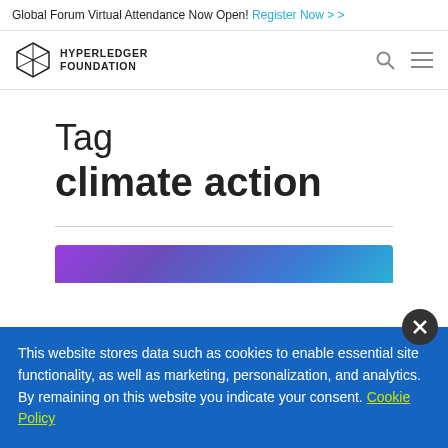Global Forum Virtual Attendance Now Open! Register Now > >
[Figure (logo): Hyperledger Foundation logo with geometric diamond shape and HYPERLEDGER FOUNDATION text]
Tag
climate action
[Figure (illustration): Purple to blue gradient banner/card preview image]
This website stores data such as cookies to enable essential site functionality, as well as marketing, personalization, and analytics. By remaining on this website you indicate your consent. Cookie Policy